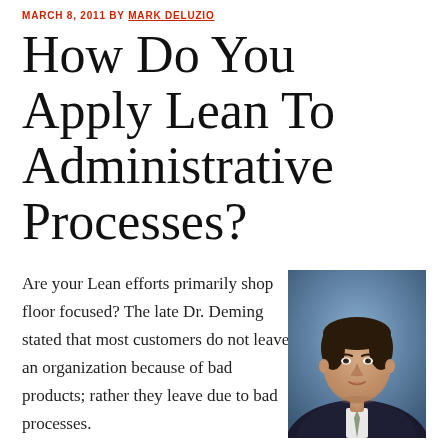MARCH 8, 2011 BY MARK DELUZIO
How Do You Apply Lean To Administrative Processes?
[Figure (photo): Professional headshot of a man in a dark suit and tie against a blue background]
Are your Lean efforts primarily shop floor focused? The late Dr. Deming stated that most customers do not leave an organization because of bad products; rather they leave due to bad processes.